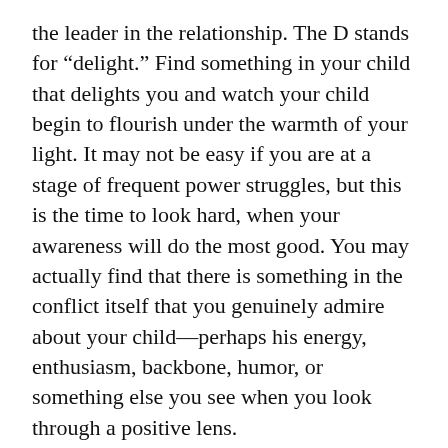the leader in the relationship. The D stands for “delight.” Find something in your child that delights you and watch your child begin to flourish under the warmth of your light. It may not be easy if you are at a stage of frequent power struggles, but this is the time to look hard, when your awareness will do the most good. You may actually find that there is something in the conflict itself that you genuinely admire about your child—perhaps his energy, enthusiasm, backbone, humor, or something else you see when you look through a positive lens.
Q.  How do you give a choice when it’s a safety issue (seatbelt)? There was literally nothing than made him want to buckle himself. He